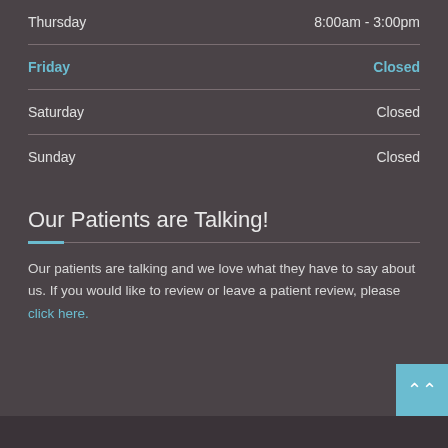| Day | Hours |
| --- | --- |
| Thursday | 8:00am - 3:00pm |
| Friday | Closed |
| Saturday | Closed |
| Sunday | Closed |
Our Patients are Talking!
Our patients are talking and we love what they have to say about us. If you would like to review or leave a patient review, please click here.